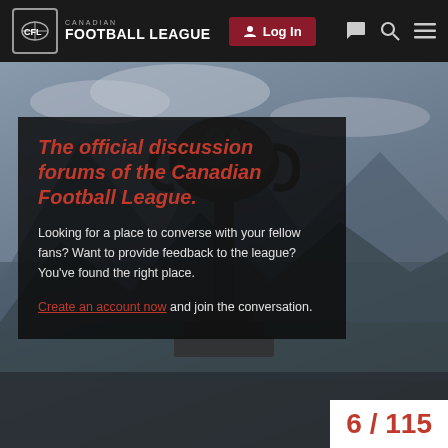CANADIAN FOOTBALL LEAGUE — Log In
[Figure (screenshot): CFL discussion forums homepage hero image showing a trophy (Grey Cup) against a mountain/cloudy background, with a dark overlay panel containing the welcome text]
The official discussion forums of the Canadian Football League.
Looking for a place to converse with your fellow fans? Want to provide feedback to the league? You've found the right place.
Create an account now and join the conversation.
6 / 115